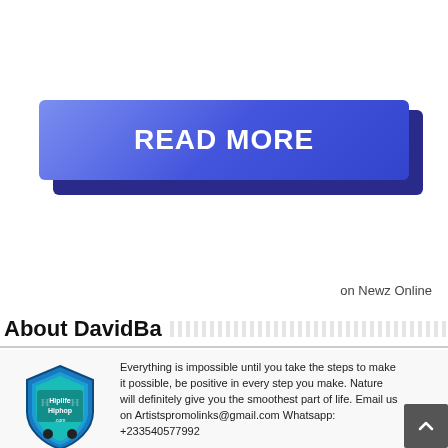[Figure (other): Blue 3D-style READ MORE button with shadow effect on white background]
on Newz Online
About DavidBa
[Figure (logo): Hiplife Hiphop .com shield logo in blue and teal]
Everything is impossible until you take the steps to make it possible, be positive in every step you make. Nature will definitely give you the smoothest part of life. Email us on Artistspromolinks@gmail.com Whatsapp: +233540577992